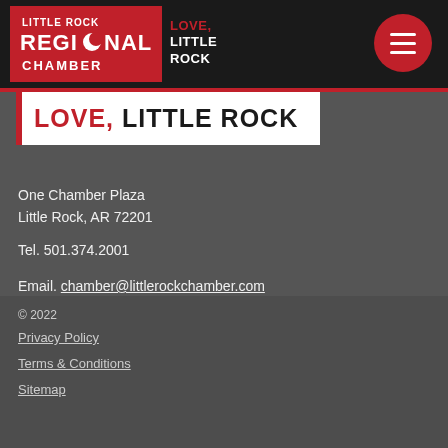[Figure (logo): Little Rock Regional Chamber logo — white text on red background with 'LITTLE ROCK REGIONAL CHAMBER' and crescent moon icon]
[Figure (logo): Love, Little Rock tagline in header — red and white bold uppercase text]
[Figure (other): Red circular hamburger menu button with three white horizontal lines]
LOVE, LITTLE ROCK
One Chamber Plaza
Little Rock, AR 72201
Tel. 501.374.2001
Email. chamber@littlerockchamber.com
© 2022
Privacy Policy
Terms & Conditions
Sitemap